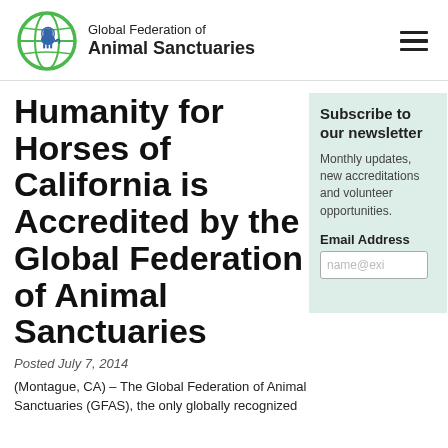Global Federation of Animal Sanctuaries
Humanity for Horses of California is Accredited by the Global Federation of Animal Sanctuaries
Posted July 7, 2014
Subscribe to our newsletter
Monthly updates, new accreditations and volunteer opportunities.
Email Address
(Montague, CA) – The Global Federation of Animal Sanctuaries (GFAS), the only globally recognized